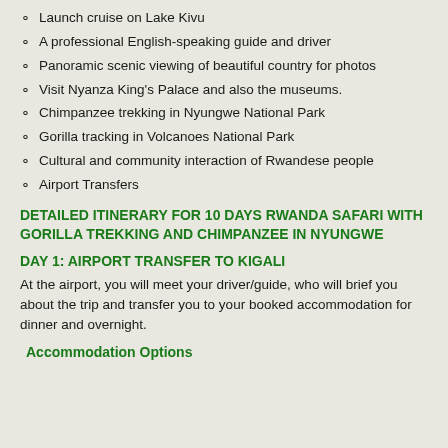Launch cruise on Lake Kivu
A professional English-speaking guide and driver
Panoramic scenic viewing of beautiful country for photos
Visit Nyanza King's Palace and also the museums.
Chimpanzee trekking in Nyungwe National Park
Gorilla tracking in Volcanoes National Park
Cultural and community interaction of Rwandese people
Airport Transfers
DETAILED ITINERARY FOR 10 DAYS RWANDA SAFARI WITH GORILLA TREKKING AND CHIMPANZEE IN NYUNGWE
DAY 1: AIRPORT TRANSFER TO KIGALI
At the airport, you will meet your driver/guide, who will brief you about the trip and transfer you to your booked accommodation for dinner and overnight.
Accommodation Options